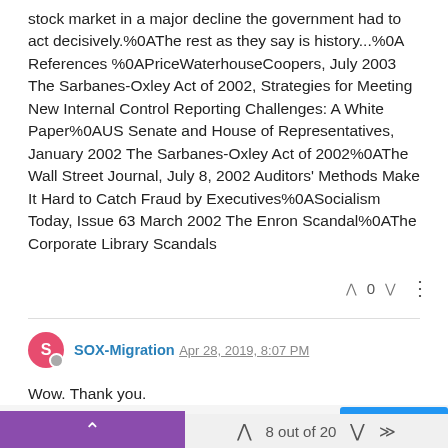stock market in a major decline the government had to act decisively.%0AThe rest as they say is history...%0A References %0APriceWaterhouseCoopers, July 2003 The Sarbanes-Oxley Act of 2002, Strategies for Meeting New Internal Control Reporting Challenges: A White Paper%0AUS Senate and House of Representatives, January 2002 The Sarbanes-Oxley Act of 2002%0AThe Wall Street Journal, July 8, 2002 Auditors' Methods Make It Hard to Catch Fraud by Executives%0ASocialism Today, Issue 63 March 2002 The Enron Scandal%0AThe Corporate Library Scandals
^ 0 v
SOX-Migration Apr 28, 2019, 8:07 PM
Wow. Thank you.
This website uses cookies to ensure you get the best
GOT IT!
8 out of 20